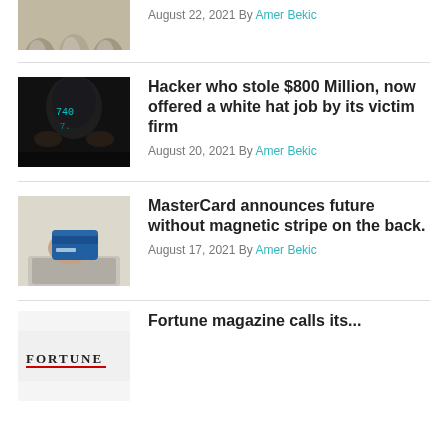[Figure (photo): Partial image of three stone/pebble-like objects, cropped at top]
August 22, 2021 By Amer Bekic
[Figure (photo): Person in a dark hoodie with glowing numbers on face - hacker stock photo]
Hacker who stole $800 Million, now offered a white hat job by its victim firm
August 20, 2021 By Amer Bekic
[Figure (photo): Hand holding a credit card in front of a laptop - MasterCard stock photo]
MasterCard announces future without magnetic stripe on the back.
August 17, 2021 By Amer Bekic
[Figure (photo): Partial Fortune magazine logo visible at bottom]
Fortune magazine calls its...